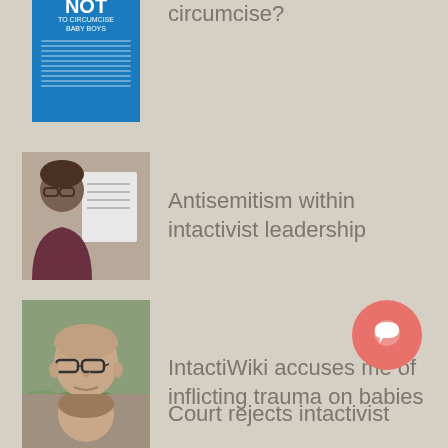[Figure (illustration): Book cover - 10 Reasons NOT to Circumcise Baby Boys]
circumcise?
[Figure (photo): Photo of a woman]
Antisemitism within intactivist leadership
[Figure (photo): Photo of a bald man with glasses]
IntactiWiki accuses me of inflicting trauma on babies
[Figure (other): Pink circular chat button with speech bubble icon]
[Figure (photo): Partial photo of a person]
Court rejects intactivist